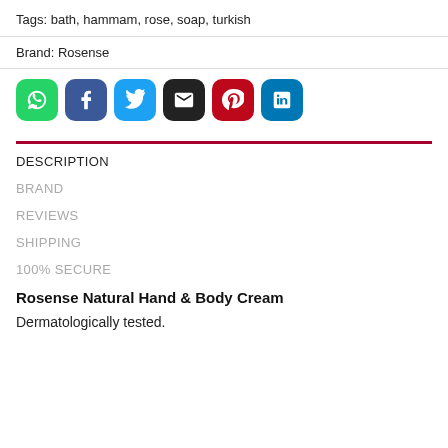Tags: bath, hammam, rose, soap, turkish
Brand: Rosense
[Figure (infographic): Row of social media share buttons: WhatsApp (green), Facebook (dark blue), Twitter (light blue), Email (black), Pinterest (red), LinkedIn (blue)]
DESCRIPTION
BRAND
REVIEWS
SHIPPING
100% SECURE
Rosense Natural Hand & Body Cream
Dermatologically tested.